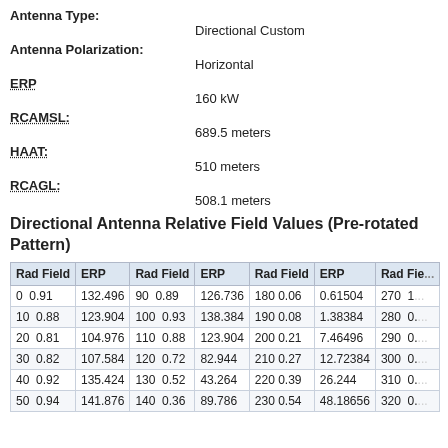Antenna Type: Directional Custom
Antenna Polarization: Horizontal
ERP: 160 kW
RCAMSL: 689.5 meters
HAAT: 510 meters
RCAGL: 508.1 meters
Directional Antenna Relative Field Values (Pre-rotated Pattern)
| Rad Field | ERP | Rad Field | ERP | Rad Field | ERP | Rad Fie... |
| --- | --- | --- | --- | --- | --- | --- |
| 0 | 0.91 | 132.496 | 90 | 0.89 | 126.736 | 180 | 0.06 | 0.61504 | 270 | 1... |
| 10 | 0.88 | 123.904 | 100 | 0.93 | 138.384 | 190 | 0.08 | 1.38384 | 280 | 0.... |
| 20 | 0.81 | 104.976 | 110 | 0.88 | 123.904 | 200 | 0.21 | 7.46496 | 290 | 0.... |
| 30 | 0.82 | 107.584 | 120 | 0.72 | 82.944 | 210 | 0.27 | 12.72384 | 300 | 0.... |
| 40 | 0.92 | 135.424 | 130 | 0.52 | 43.264 | 220 | 0.39 | 26.244 | 310 | 0.... |
| 50 | 0.94 | 141.876 | 140 | 0.36 | 89.786 | 230 | 0.54 | 48.18656 | 320 | 0.... |